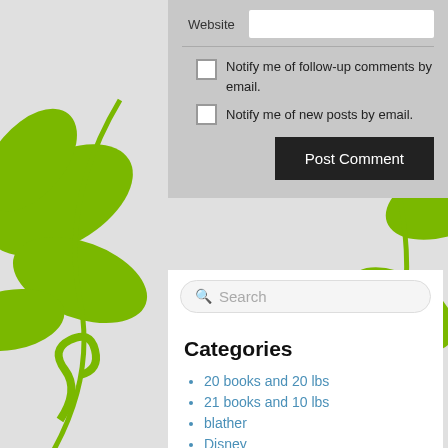Website
Notify me of follow-up comments by email.
Notify me of new posts by email.
Post Comment
Search
Categories
20 books and 20 lbs
21 books and 10 lbs
blather
Disney
fitness